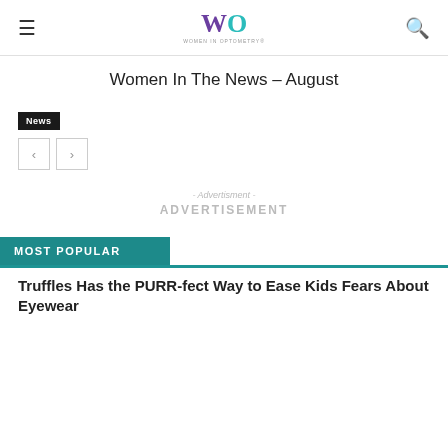Women In Optometry (WO logo) — navigation header
Women In The News – August
News
[Figure (other): Navigation arrows: left arrow button and right arrow button]
- Advertisment -
ADVERTISEMENT
MOST POPULAR
Truffles Has the PURR-fect Way to Ease Kids Fears About Eyewear